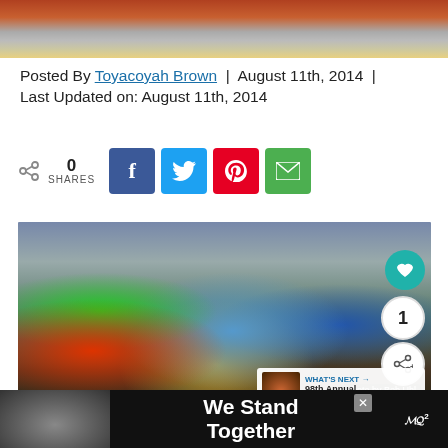[Figure (photo): Top cropped photo showing colorful Native American regalia and clothing at a powwow event]
Posted By Toyacoyah Brown | August 11th, 2014 | Last Updated on: August 11th, 2014
[Figure (infographic): Social share bar with 0 shares count and buttons for Facebook, Twitter, Pinterest, and Email]
[Figure (photo): Native American dancers in colorful traditional regalia performing at a powwow. Photo credit: Photo by Bob Uhl]
[Figure (infographic): What's Next panel showing thumbnail and text: 98th Annual Meskwaki P...]
[Figure (photo): Advertisement banner at bottom: We Stand Together with group photo]